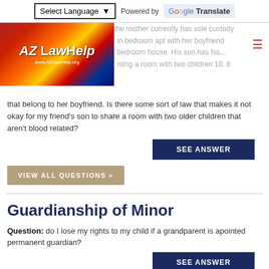Select Language ▾ Powered by Google Translate
[Figure (logo): AZ Law Help logo with Arizona flag background, www.AZLawHelp.org]
Question: My friend has a son and the mother currently has sole custody in a bedroom apt with her boyfriend and a bedroom house. His son has his own room but is now sharing a room with two children 10, 8 that belong to her boyfriend. Is there some sort of law that makes it not okay for my friend's son to share a room with two older children that aren't blood related?
SEE ANSWER
VIEW ALL QUESTIONS »
Guardianship of Minor
Question: do I lose my rights to my child if a grandparent is apointed permanent guardian?
SEE ANSWER
Question: How do I get guardianship of a minor child?
SEE ANSWER
Question: I gave revocable guardianship to my mom when I moved out